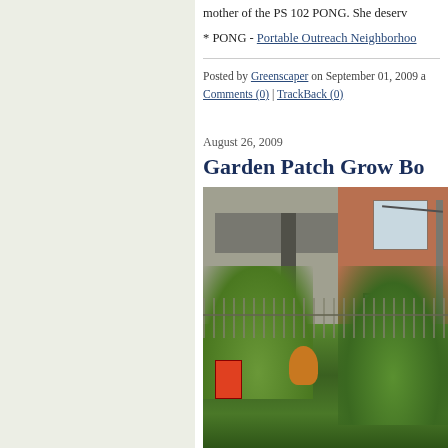mother of the PS 102 PONG. She deserv
* PONG - Portable Outreach Neighborhoo
Posted by Greenscaper on September 01, 2009 | Comments (0) | TrackBack (0)
August 26, 2009
Garden Patch Grow Bo
[Figure (photo): Outdoor photo of a school garden with chain-link fence, brick building, and lush green plants including tomatoes and flowers in the foreground]